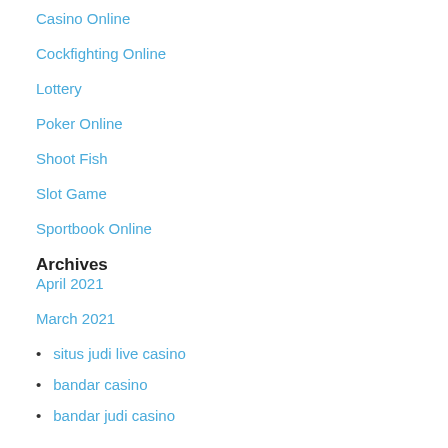Casino Online
Cockfighting Online
Lottery
Poker Online
Shoot Fish
Slot Game
Sportbook Online
Archives
April 2021
March 2021
situs judi live casino
bandar casino
bandar judi casino